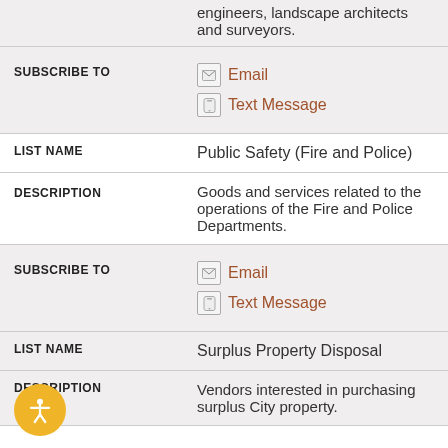engineers, landscape architects and surveyors.
SUBSCRIBE TO
Email
Text Message
LIST NAME
Public Safety (Fire and Police)
DESCRIPTION
Goods and services related to the operations of the Fire and Police Departments.
SUBSCRIBE TO
Email
Text Message
LIST NAME
Surplus Property Disposal
DESCRIPTION
Vendors interested in purchasing surplus City property.